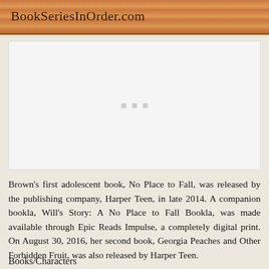BookSeriesInOrder.com
[Figure (other): Advertisement placeholder box with three gray dots in the center]
Brown's first adolescent book, No Place to Fall, was released by the publishing company, Harper Teen, in late 2014. A companion bookla, Will's Story: A No Place to Fall Bookla, was made available through Epic Reads Impulse, a completely digital print. On August 30, 2016, her second book, Georgia Peaches and Other Forbidden Fruit, was also released by Harper Teen.
Books/Characters